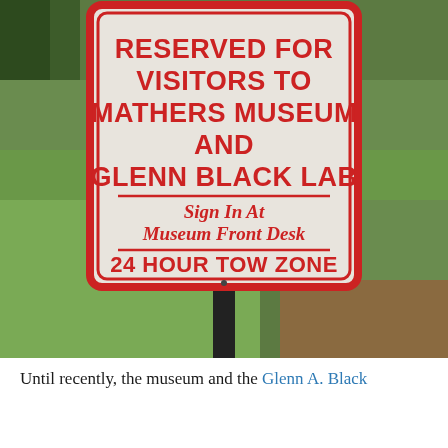[Figure (photo): Outdoor photo of a parking sign on a metal post in front of green grass. The sign reads: RESERVED FOR VISITORS TO MATHERS MUSEUM AND GLENN BLACK LAB — Sign In At Museum Front Desk — 24 HOUR TOW ZONE. The sign is white/cream with red text and a red border.]
Until recently, the museum and the Glenn A. Black